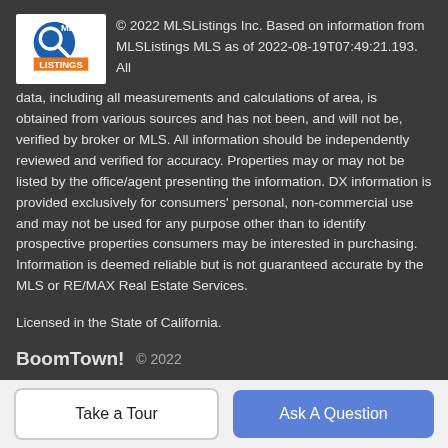© 2022 MLSListings Inc. Based on information from MLSListings MLS as of 2022-08-19T07:49:21.193. All data, including all measurements and calculations of area, is obtained from various sources and has not been, and will not be, verified by broker or MLS. All information should be independently reviewed and verified for accuracy. Properties may or may not be listed by the office/agent presenting the information. DX information is provided exclusively for consumers' personal, non-commercial use and may not be used for any purpose other than to identify prospective properties consumers may be interested in purchasing. Information is deemed reliable but is not guaranteed accurate by the MLS or RE/MAX Real Estate Services.
Licensed in the State of California.
Will Carrillo, CA DRE# 00981185
BoomTown! © 2022
Take a Tour
Ask A Question